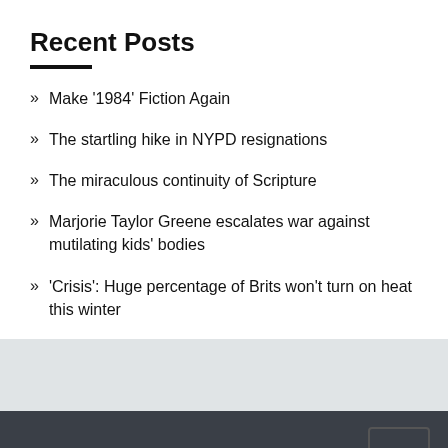Recent Posts
Make '1984' Fiction Again
The startling hike in NYPD resignations
The miraculous continuity of Scripture
Marjorie Taylor Greene escalates war against mutilating kids' bodies
'Crisis': Huge percentage of Brits won't turn on heat this winter
Pages